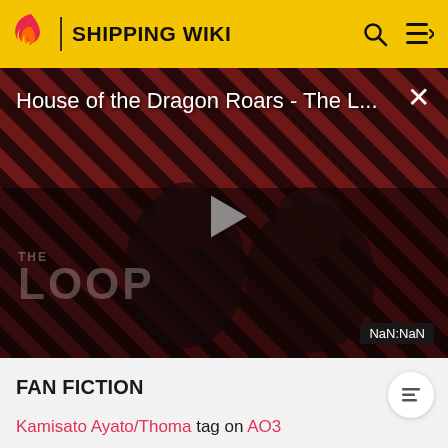SHIPPING WIKI
[Figure (screenshot): Video thumbnail for 'House of the Dragon Roars - The L...' with a play button, diagonal striped red/dark background, two people silhouettes, 'THE LOOP' text overlay, and NaN:NaN timer badge]
FAN FICTION
Kamisato Ayato/Thoma tag on AO3
TUMBLR